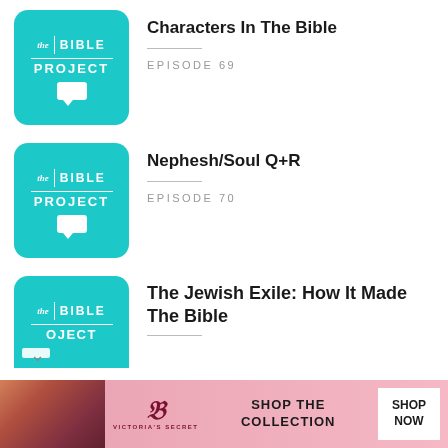[Figure (screenshot): The Bible Project podcast thumbnail - teal/cyan square logo with 'the BIBLE PROJECT' text and speech bubble]
Characters In The Bible
EPISODE 69
[Figure (screenshot): The Bible Project podcast thumbnail - teal/cyan square logo with 'the BIBLE PROJECT' text and speech bubble]
Nephesh/Soul Q+R
EPISODE 70
[Figure (screenshot): The Bible Project podcast thumbnail - teal/cyan square logo partially visible]
The Jewish Exile: How It Made The Bible
[Figure (photo): Victoria's Secret advertisement banner with woman model photo, VS logo, 'SHOP THE COLLECTION' text, and 'SHOP NOW' button]